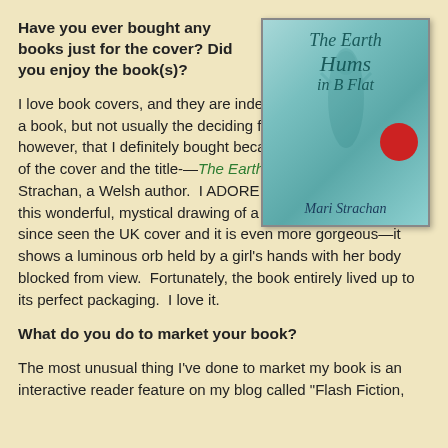Have you ever bought any books just for the cover? Did you enjoy the book(s)?
[Figure (photo): Book cover of 'The Earth Hums in B Flat' by Mari Strachan, featuring a teal/cyan misty background with a faint figure of a girl floating upward, italic script title text, and a red circular badge.]
I love book covers, and they are indeed factors when I choose a book, but not usually the deciding factor. There is one book, however, that I definitely bought because of the combination of the cover and the title-—The Earth Hums in B Flat by Mari Strachan, a Welsh author.  I ADORE that title and the cover is this wonderful, mystical drawing of a girl floating upward. I've since seen the UK cover and it is even more gorgeous—it shows a luminous orb held by a girl's hands with her body blocked from view.  Fortunately, the book entirely lived up to its perfect packaging.  I love it.
What do you do to market your book?
The most unusual thing I've done to market my book is an interactive reader feature on my blog called "Flash Fiction,